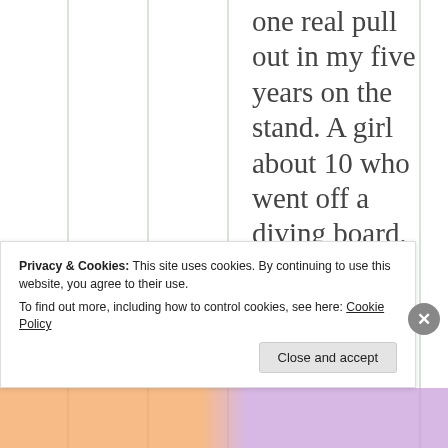one real pull out in my five years on the stand. A girl about 10 who went off a diving board, and after I got
Privacy & Cookies: This site uses cookies. By continuing to use this website, you agree to their use. To find out more, including how to control cookies, see here: Cookie Policy
Close and accept